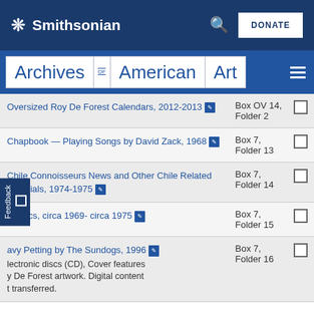Smithsonian
Archives of American Art
| Item | Location | Select |
| --- | --- | --- |
| Oversized Roy De Forest Calendars, 2012-2013 [image] | Box OV 14, Folder 2 |  |
| Chapbook — Playing Songs by David Zack, 1968 [image] | Box 7, Folder 13 |  |
| Chile Connoisseurs News and Other Chile Related Materials, 1974-1975 [image] | Box 7, Folder 14 |  |
| Comics, circa 1969- circa 1975 [image] | Box 7, Folder 15 |  |
| Heavy Petting by The Sundogs, 1996 [image] Electronic discs (CD), Cover features Roy De Forest artwork. Digital content not transferred. | Box 7, Folder 16 |  |